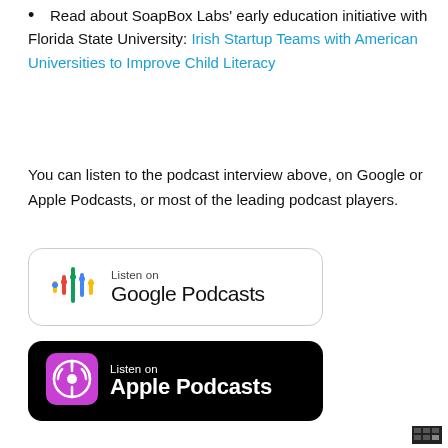Read about SoapBox Labs' early education initiative with Florida State University: Irish Startup Teams with American Universities to Improve Child Literacy
You can listen to the podcast interview above, on Google or Apple Podcasts, or most of the leading podcast players.
[Figure (logo): Google Podcasts badge: rounded rectangle with Google Podcasts colored equalizer icon and text 'Listen on Google Podcasts']
[Figure (logo): Apple Podcasts badge: black rounded rectangle with purple podcast icon and text 'Listen on Apple Podcasts']